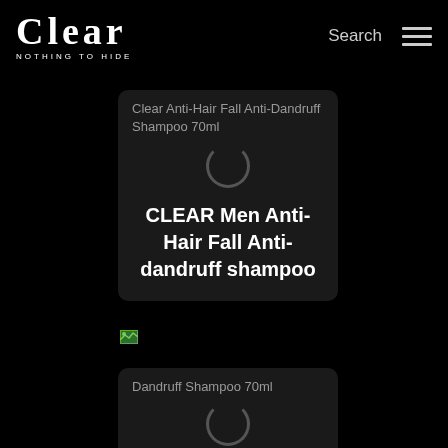[Figure (logo): CLEAR 'Nothing to Hide' brand logo in white on black background]
Search
Clear Anti-Hair Fall Anti-Dandruff Shampoo 70ml
[Figure (other): Loading spinner ring icon]
CLEAR Men Anti-Hair Fall Anti-dandruff shampoo
[Figure (other): Broken image icon (small green rectangle)]
Dandruff Shampoo 70ml
[Figure (other): Loading spinner ring icon]